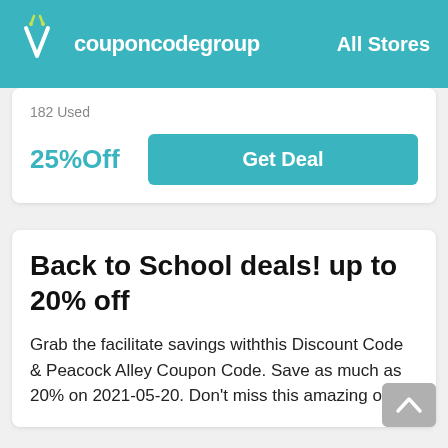couponcodegroup  All Stores
182 Used
25%Off
Get Deal
Back to School deals! up to 20% off
Grab the facilitate savings withthis Discount Code & Peacock Alley Coupon Code. Save as much as 20% on 2021-05-20. Don't miss this amazing offer!